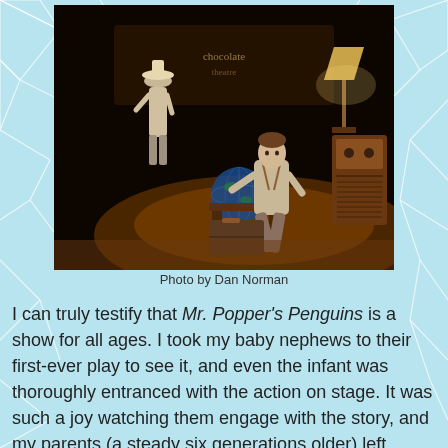[Figure (photo): Two actors on stage: one standing in background wearing a hat and white shirt, one seated in foreground in period costume crouched over a table with props including a globe, a vintage lamp, and a wooden radio cabinet on a dark theatrical stage.]
Photo by Dan Norman
I can truly testify that Mr. Popper's Penguins is a show for all ages. I took my baby nephews to their first-ever play to see it, and even the infant was thoroughly entranced with the action on stage. It was such a joy watching them engage with the story, and my parents (a steady six generations older) left raving about how much they enjoyed the experience as well. This gentle, lovely show doesn't pull any punches; there are no major twists or tense moments, and that's exactly what I liked about it. Sometimes it's nice to wrap yourself up in a cozy blanket of a play and warm